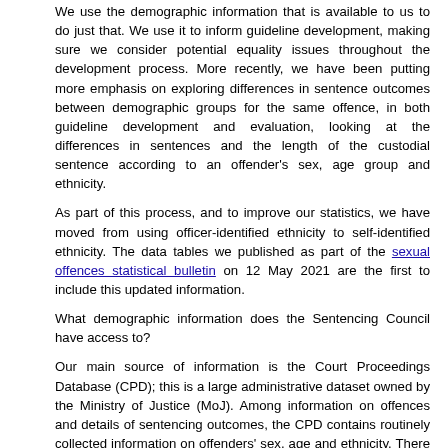We use the demographic information that is available to us to do just that. We use it to inform guideline development, making sure we consider potential equality issues throughout the development process. More recently, we have been putting more emphasis on exploring differences in sentence outcomes between demographic groups for the same offence, in both guideline development and evaluation, looking at the differences in sentences and the length of the custodial sentence according to an offender's sex, age group and ethnicity.
As part of this process, and to improve our statistics, we have moved from using officer-identified ethnicity to self-identified ethnicity. The data tables we published as part of the sexual offences statistical bulletin on 12 May 2021 are the first to include this updated information.
What demographic information does the Sentencing Council have access to?
Our main source of information is the Court Proceedings Database (CPD); this is a large administrative dataset owned by the Ministry of Justice (MoJ). Among information on offences and details of sentencing outcomes, the CPD contains routinely collected information on offenders' sex, age and ethnicity. There are two types of ethnicity information in the dataset: officer-identified ethnicity, which is the variable we used previously, and self-identified ethnicity, which is the variable we use now.
Why switch from police-identified to self-identified ethnicity?